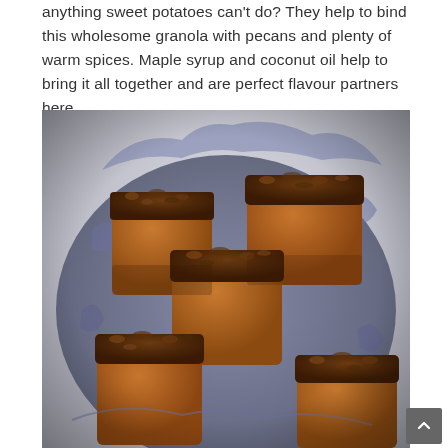anything sweet potatoes can't do? They help to bind this wholesome granola with pecans and plenty of warm spices. Maple syrup and coconut oil help to bring it all together and are perfect flavour partners here.
[Figure (photo): Overhead close-up photo of baked muffins or cake squares with pecan granola topping, piled in a dark cloth-lined bowl. The baked goods have a golden-brown sponge with a crunchy nut and crumble topping.]